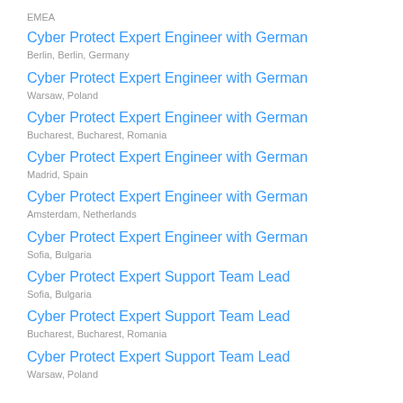EMEA
Cyber Protect Expert Engineer with German
Berlin, Berlin, Germany
Cyber Protect Expert Engineer with German
Warsaw, Poland
Cyber Protect Expert Engineer with German
Bucharest, Bucharest, Romania
Cyber Protect Expert Engineer with German
Madrid, Spain
Cyber Protect Expert Engineer with German
Amsterdam, Netherlands
Cyber Protect Expert Engineer with German
Sofia, Bulgaria
Cyber Protect Expert Support Team Lead
Sofia, Bulgaria
Cyber Protect Expert Support Team Lead
Bucharest, Bucharest, Romania
Cyber Protect Expert Support Team Lead
Warsaw, Poland